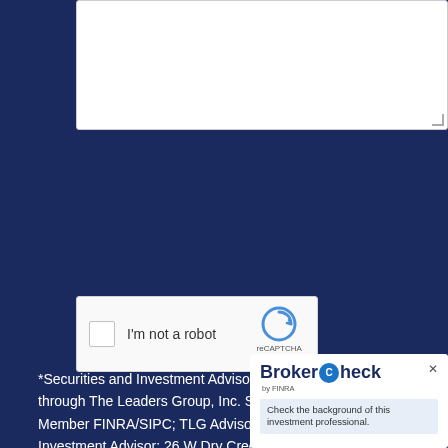[Figure (screenshot): White textarea input box with resize handle at bottom-right corner, on dark navy background]
[Figure (screenshot): reCAPTCHA widget with checkbox labeled 'I'm not a robot', reCAPTCHA logo, Privacy and Terms links]
[Figure (screenshot): SEND button with white border on dark navy background]
*Securities and Investment Advisory Services offered through The Leaders Group, Inc. Securities Dealer, Member FINRA/SIPC; TLG Advisors, Inc. Re... Investment Advisor; 26 W Dry Creek Circle,
[Figure (screenshot): BrokerCheck by FINRA widget with close button (x), BrokerCheck logo with circular C icon, 'by FINRA' text, and tagline 'Check the background of this investment professional.']